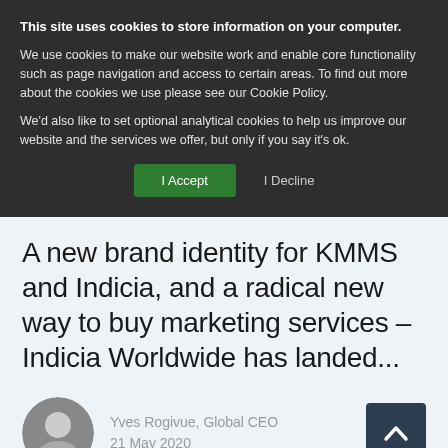This site uses cookies to store information on your computer.
We use cookies to make our website work and enable core functionality such as page navigation and access to certain areas. To find out more about the cookies we use please see our Cookie Policy.
We’d also like to set optional analytical cookies to help us improve our website and the services we offer, but only if you say it’s ok.
I Accept
I Decline
A new brand identity for KMMS and Indicia, and a radical new way to buy marketing services – Indicia Worldwide has landed...
[Figure (photo): Circular black and white portrait photo of Yves Rogivue]
Yves Rogivue, Global CEO
21 May 2020